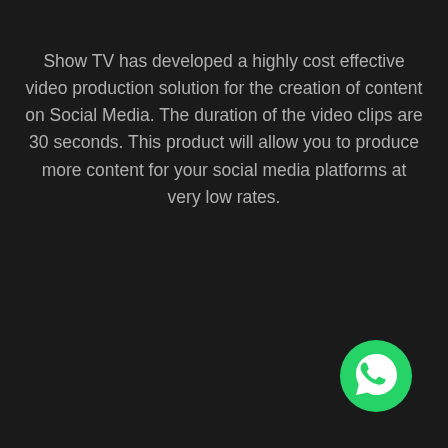Show TV has developed a highly cost effective video production solution for the creation of content on Social Media. The duration of the video clips are 30 seconds. This product will allow you to produce more content for your social media platforms at very low rates.
[Figure (logo): WhatsApp logo — green circle with white phone handset inside a speech bubble icon]